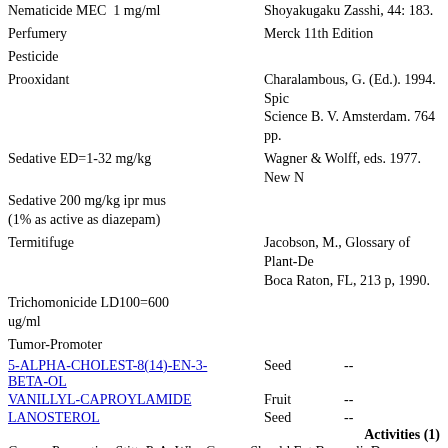Nematicide MEC  1 mg/ml
Shoyakugaku Zasshi, 44: 183.
Perfumery
Merck 11th Edition
Pesticide
Prooxidant
Charalambous, G. (Ed.). 1994. Spic... Science B. V. Amsterdam. 764 pp.
Sedative ED=1-32 mg/kg
Wagner & Wolff, eds. 1977. New N...
Sedative 200 mg/kg ipr mus (1% as active as diazepam)
Termitifuge
Jacobson, M., Glossary of Plant-De... Boca Raton, FL, 213 p, 1990.
Trichomonicide LD100=600 ug/ml
Tumor-Promoter
5-ALPHA-CHOLEST-8(14)-EN-3-BETA-OL
Seed  --
VANILLYL-CAPROYLAMIDE
Fruit  --
LANOSTEROL
Seed  --
Activities (1)
Cancer-Preventive Stitt, P. A. Why George Should Eat Broccoli. Do...
1-O-CAFFEOYL-BETA-D-GLUCOSE
Fruit  --
MYRCENE
Fruit  --